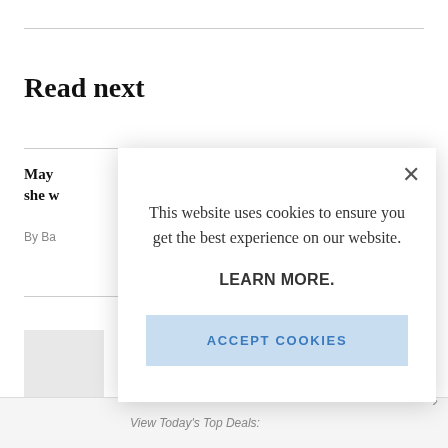Read next
May... she w...
By Ba...
[Figure (screenshot): Cookie consent modal dialog with close button (×), message 'This website uses cookies to ensure you get the best experience on our website.', LEARN MORE. link, and ACCEPT COOKIES button]
This website uses cookies to ensure you get the best experience on our website.
LEARN MORE.
ACCEPT COOKIES